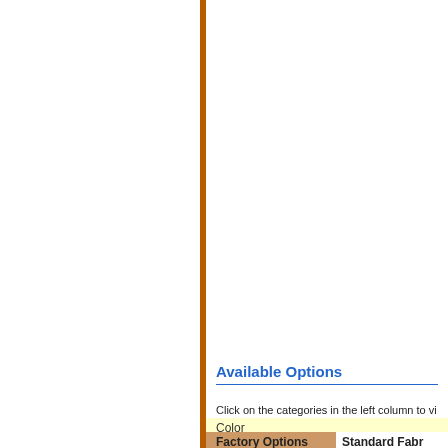Available Options
Click on the categories in the left column to vi
Color
Factory Options
Standard Fabr
Accessories
Calypso - F